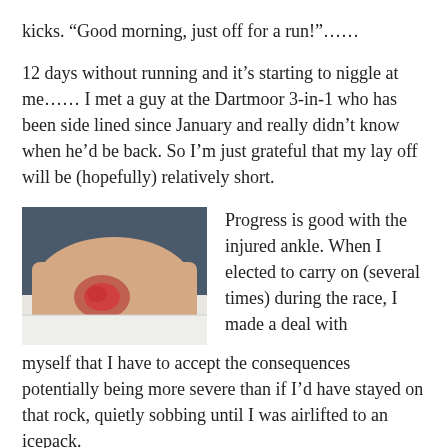kicks. “Good morning, just off for a run!”......
12 days without running and it’s starting to niggle at me..... I met a guy at the Dartmoor 3-in-1 who has been side lined since January and really didn’t know when he’d be back. So I’m just grateful that my lay off will be (hopefully) relatively short.
[Figure (photo): Close-up photo of an injured ankle showing a wound or blister on the skin, with a white bandage or cloth visible underneath.]
Progress is good with the injured ankle. When I elected to carry on (several times) during the race, I made a deal with myself that I have to accept the consequences potentially being more severe than if I’d have stayed on that rock, quietly sobbing until I was airlifted to an icepack.